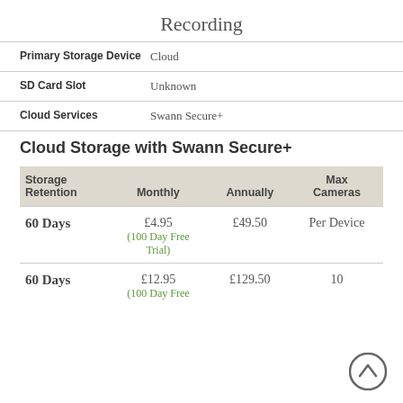Recording
|  |  |
| --- | --- |
| Primary Storage Device | Cloud |
| SD Card Slot | Unknown |
| Cloud Services | Swann Secure+ |
Cloud Storage with Swann Secure+
| Storage Retention | Monthly | Annually | Max Cameras |
| --- | --- | --- | --- |
| 60 Days | £4.95 (100 Day Free Trial) | £49.50 | Per Device |
| 60 Days | £12.95 (100 Day Free | £129.50 | 10 |